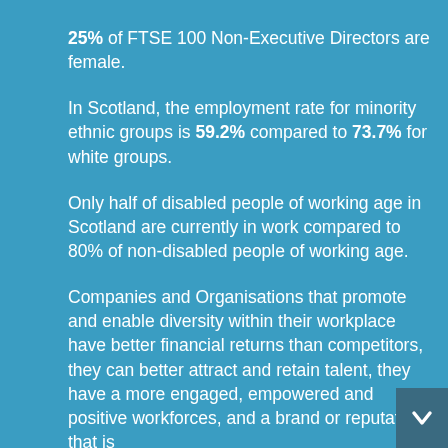25% of FTSE 100 Non-Executive Directors are female.
In Scotland, the employment rate for minority ethnic groups is 59.2% compared to 73.7% for white groups.
Only half of disabled people of working age in Scotland are currently in work compared to 80% of non-disabled people of working age.
Companies and Organisations that promote and enable diversity within their workplace have better financial returns than competitors, they can better attract and retain talent, they have a more engaged, empowered and positive workforces, and a brand or reputation that is